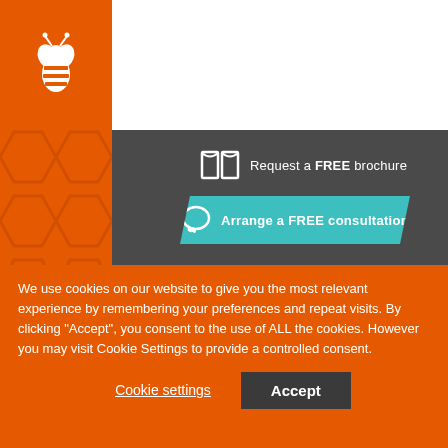[Figure (logo): White bee/insect logo on orange background in top-left sidebar]
[Figure (illustration): Three horizontal hamburger menu lines in top-right corner]
Request a FREE brochure
Arrange a FREE consultation
[Figure (photo): Photo of a desk/shelf with computer equipment including keyboard, game controllers, and devices]
We use cookies on our website to give you the most relevant experience by remembering your preferences and repeat visits. By clicking "Accept", you consent to the use of ALL the cookies. However you may visit Cookie Settings to provide a controlled consent.
Cookie settings
Accept